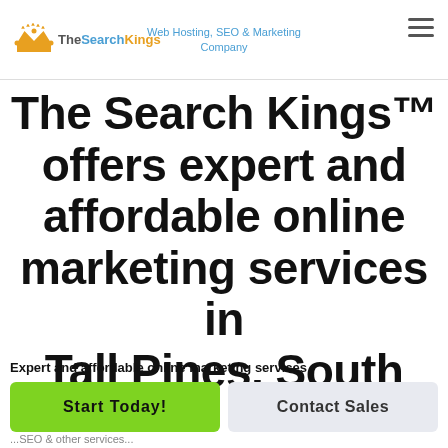TheSearchKings - Web Hosting, SEO & Marketing Company
The Search Kings™ offers expert and affordable online marketing services in Tall Pines, South
Expert and affordable online marketing services
Start Today! | Contact Sales
...SEO and other services...